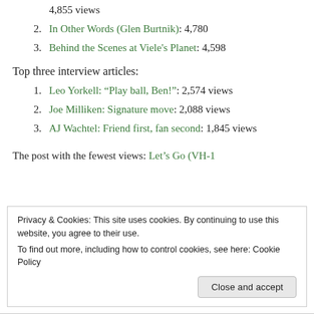4,855 views
In Other Words (Glen Burtnik): 4,780
Behind the Scenes at Viele's Planet: 4,598
Top three interview articles:
Leo Yorkell: “Play ball, Ben!”: 2,574 views
Joe Milliken: Signature move: 2,088 views
AJ Wachtel: Friend first, fan second: 1,845 views
The post with the fewest views: Let’s Go (VH-1
Privacy & Cookies: This site uses cookies. By continuing to use this website, you agree to their use. To find out more, including how to control cookies, see here: Cookie Policy